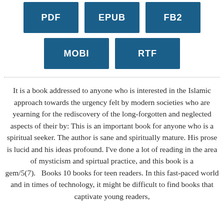[Figure (other): Row of three dark teal/blue download format buttons: PDF, EPUB, FB2]
[Figure (other): Row of two dark teal/blue download format buttons: MOBI, RTF]
It is a book addressed to anyone who is interested in the Islamic approach towards the urgency felt by modern societies who are yearning for the rediscovery of the long-forgotten and neglected aspects of their by: This is an important book for anyone who is a spiritual seeker. The author is sane and spiritually mature. His prose is lucid and his ideas profound. I've done a lot of reading in the area of mysticism and spirtual practice, and this book is a gem/5(7).   Books 10 books for teen readers. In this fast-paced world and in times of technology, it might be difficult to find books that captivate young readers,